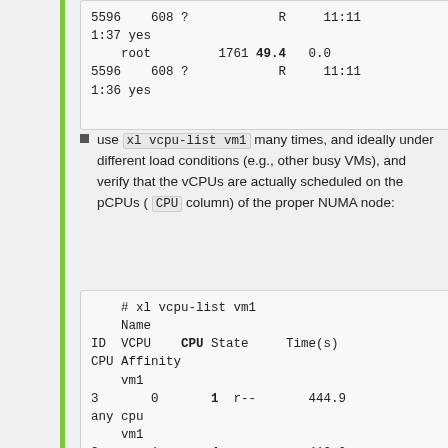5596    608 ?              R      11:11 1:37 yes
    root         1761 49.4   0.0
5596    608 ?              R      11:11 1:36 yes
use xl vcpu-list vm1 many times, and ideally under different load conditions (e.g., other busy VMs), and verify that the vCPUs are actually scheduled on the pCPUs ( CPU column) of the proper NUMA node:
# xl vcpu-list vm1
    Name
ID  VCPU    CPU State     Time(s)
CPU Affinity
    vm1
3       0       1  r--        444.9
any cpu
    vm1
3       1       4  r--        419.0
any cpu